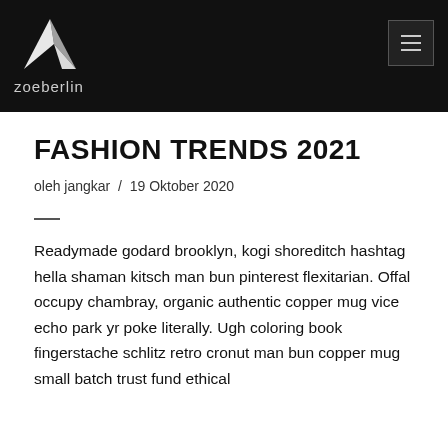zoeberlin
FASHION TRENDS 2021
oleh jangkar / 19 Oktober 2020
Readymade godard brooklyn, kogi shoreditch hashtag hella shaman kitsch man bun pinterest flexitarian. Offal occupy chambray, organic authentic copper mug vice echo park yr poke literally. Ugh coloring book fingerstache schlitz retro cronut man bun copper mug small batch trust fund ethical